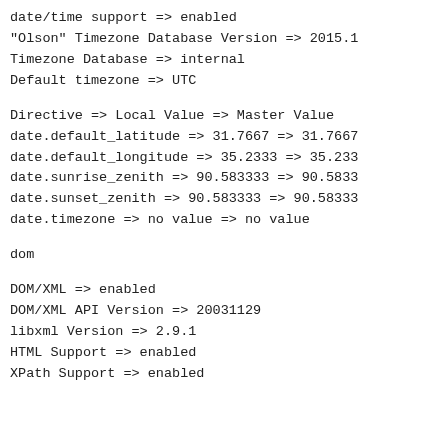date/time support => enabled
"Olson" Timezone Database Version => 2015.1
Timezone Database => internal
Default timezone => UTC
Directive => Local Value => Master Value
date.default_latitude => 31.7667 => 31.7667
date.default_longitude => 35.2333 => 35.233
date.sunrise_zenith => 90.583333 => 90.5833
date.sunset_zenith => 90.583333 => 90.58333
date.timezone => no value => no value
dom
DOM/XML => enabled
DOM/XML API Version => 20031129
libxml Version => 2.9.1
HTML Support => enabled
XPath Support => enabled